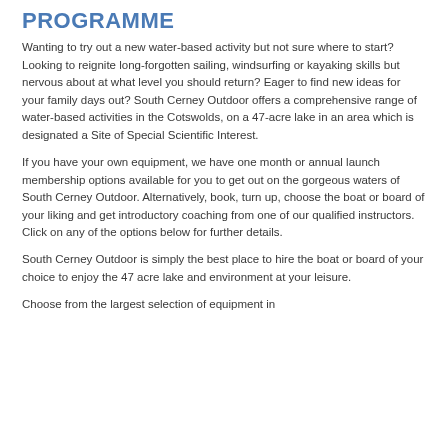PROGRAMME
Wanting to try out a new water-based activity but not sure where to start? Looking to reignite long-forgotten sailing, windsurfing or kayaking skills but nervous about at what level you should return? Eager to find new ideas for your family days out? South Cerney Outdoor offers a comprehensive range of water-based activities in the Cotswolds, on a 47-acre lake in an area which is designated a Site of Special Scientific Interest.
If you have your own equipment, we have one month or annual launch membership options available for you to get out on the gorgeous waters of South Cerney Outdoor. Alternatively, book, turn up, choose the boat or board of your liking and get introductory coaching from one of our qualified instructors. Click on any of the options below for further details.
South Cerney Outdoor is simply the best place to hire the boat or board of your choice to enjoy the 47 acre lake and environment at your leisure.
Choose from the largest selection of equipment in